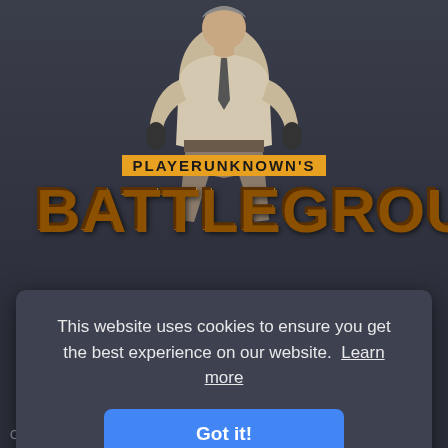[Figure (screenshot): PLAYERUNKNOWN'S BATTLEGROUNDS game cover image with character in tactical gear and game logo with orange/gold letters on dark background]
Hllooo
December 8, 2020   43,912 replies
This website uses cookies to ensure you get the best experience on our website.  Learn more
Got it!
Oce1000   Mahdia...